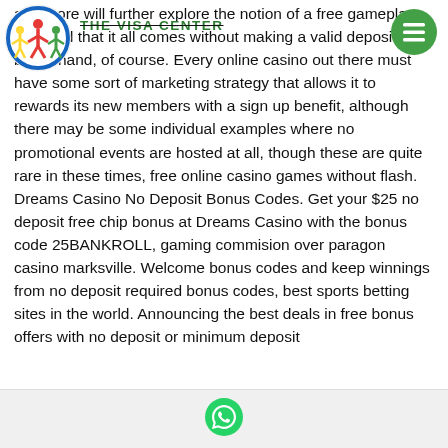THE VISA CENTER
[Figure (logo): Colorful circular logo with figures, red/yellow/blue/green]
[Figure (other): Green circular hamburger menu button]
and more will further explore the notion of a free gameplay, provided that it all comes without making a valid deposit beforehand, of course. Every online casino out there must have some sort of marketing strategy that allows it to rewards its new members with a sign up benefit, although there may be some individual examples where no promotional events are hosted at all, though these are quite rare in these times, free online casino games without flash. Dreams Casino No Deposit Bonus Codes. Get your $25 no deposit free chip bonus at Dreams Casino with the bonus code 25BANKROLL, gaming commision over paragon casino marksville. Welcome bonus codes and keep winnings from no deposit required bonus codes, best sports betting sites in the world. Announcing the best deals in free bonus offers with no deposit or minimum deposit
[Figure (logo): WhatsApp icon in footer bar]